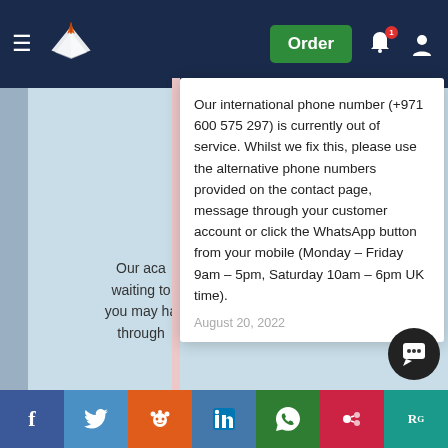UKEssays navigation bar with Order button
Our international phone number (+971 600 575 297) is currently out of service. Whilst we fix this, please use the alternative phone numbers provided on the contact page, message through your customer account or click the WhatsApp button from your mobile (Monday – Friday 9am – 5pm, Saturday 10am – 6pm UK time).
August 20, 2022
UKEss...
Our aca... waiting to... you may ha... through... guarantee we have a service perfectly matched to your needs.
Social share bar: Facebook, Twitter, Reddit, LinkedIn, WhatsApp, Mendeley, ResearchGate